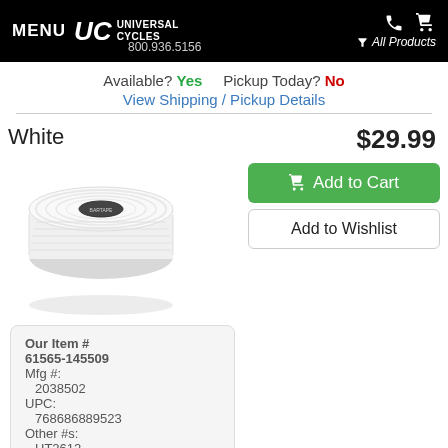MENU  UC UNIVERSAL CYCLES  800.936.5156  All Products
Available? Yes  Pickup Today? No
View Shipping / Pickup Details
White
[Figure (photo): White bicycle bar tape roll with dark label in center]
$29.99
Add to Cart
Add to Wishlist
Our Item #
61565-145509
Mfg #:
  2038502
UPC:
  768686889523
Other #s:
  HT2612
  670470-05